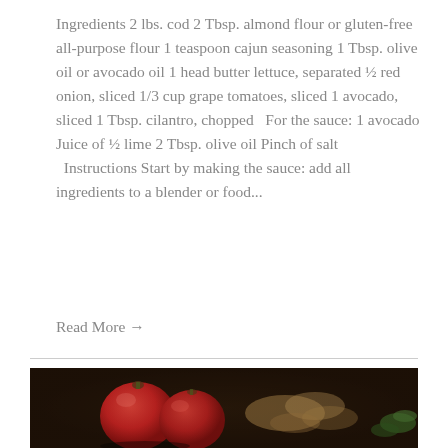Ingredients 2 lbs. cod 2 Tbsp. almond flour or gluten-free all-purpose flour 1 teaspoon cajun seasoning 1 Tbsp. olive oil or avocado oil 1 head butter lettuce, separated ½ red onion, sliced 1/3 cup grape tomatoes, sliced 1 avocado, sliced 1 Tbsp. cilantro, chopped   For the sauce: 1 avocado Juice of ½ lime 2 Tbsp. olive oil Pinch of salt   Instructions Start by making the sauce: add all ingredients to a blender or food...
Read More →
[Figure (photo): Dark background food photo showing red tomatoes in foreground and pasta/food items in soft focus behind them, with green herb visible at far right]